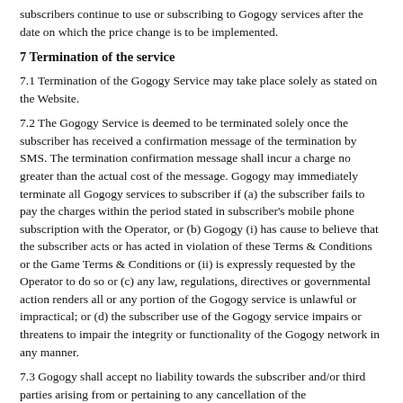subscribers continue to use or subscribing to Gogogy services after the date on which the price change is to be implemented.
7 Termination of the service
7.1 Termination of the Gogogy Service may take place solely as stated on the Website.
7.2 The Gogogy Service is deemed to be terminated solely once the subscriber has received a confirmation message of the termination by SMS. The termination confirmation message shall incur a charge no greater than the actual cost of the message. Gogogy may immediately terminate all Gogogy services to subscriber if (a) the subscriber fails to pay the charges within the period stated in subscriber's mobile phone subscription with the Operator, or (b) Gogogy (i) has cause to believe that the subscriber acts or has acted in violation of these Terms & Conditions or the Game Terms & Conditions or (ii) is expressly requested by the Operator to do so or (c) any law, regulations, directives or governmental action renders all or any portion of the Gogogy service is unlawful or impractical; or (d) the subscriber use of the Gogogy service impairs or threatens to impair the integrity or functionality of the Gogogy network in any manner.
7.3 Gogogy shall accept no liability towards the subscriber and/or third parties arising from or pertaining to any cancellation of the